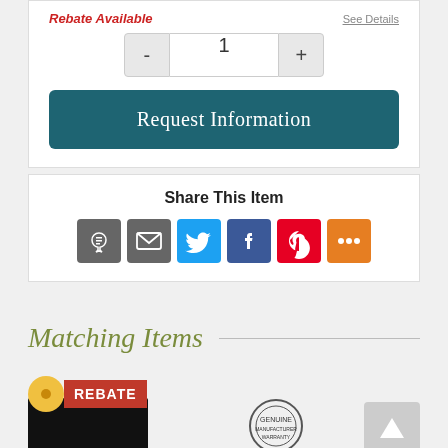Rebate Available
See Details
1
Request Information
Share This Item
[Figure (infographic): Social share icons: Email (grey), Twitter (blue), Facebook (dark blue), Pinterest (red), More (orange)]
Matching Items
[Figure (photo): Product thumbnail with REBATE badge and yellow circle badge, black appliance image]
[Figure (logo): Genuine warranty badge/seal]
[Figure (other): Scroll to top button with up arrow]